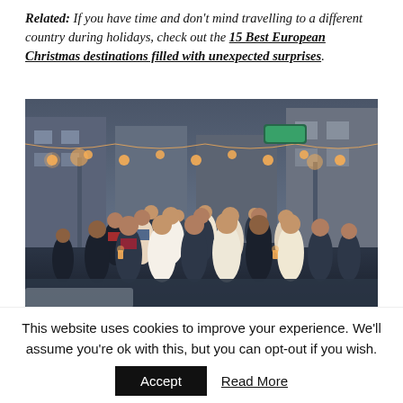Related: If you have time and don't mind travelling to a different country during holidays, check out the 15 Best European Christmas destinations filled with unexpected surprises.
[Figure (photo): A group of people dressed in traditional Eastern European folk costumes walking down a festively lit street at night, with Christmas lights and decorations visible in the background.]
This website uses cookies to improve your experience. We'll assume you're ok with this, but you can opt-out if you wish.